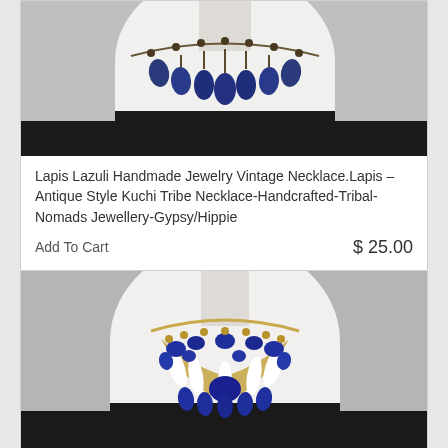[Figure (photo): Photo of a lapis lazuli bead necklace with blue teardrop pendants displayed on a white mannequin bust against a dark/black background]
Lapis Lazuli Handmade Jewelry Vintage Necklace.Lapis – Antique Style Kuchi Tribe Necklace-Handcrafted-Tribal-Nomads Jewellery-Gypsy/Hippie
Add To Cart
$ 25.00
[Figure (photo): Photo of an elaborate tribal-style bib necklace with blue lapis stones, feathers, and gold chain on a white mannequin bust against a gray background]